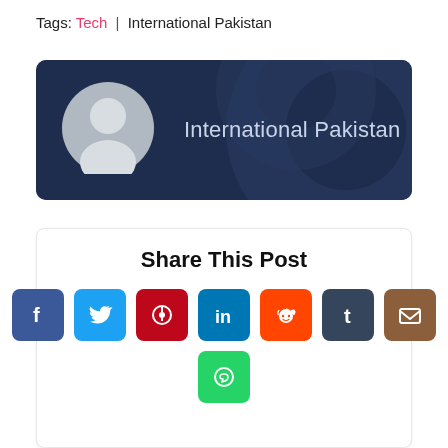Tags: Tech | International Pakistan
[Figure (other): Author card with dark navy background, circular avatar placeholder (grey silhouette), and name 'International Pakistan' in light text]
Share This Post
[Figure (infographic): Social share buttons: Facebook, Twitter, Pinterest, LinkedIn, Reddit, Tumblr, Email, WhatsApp]